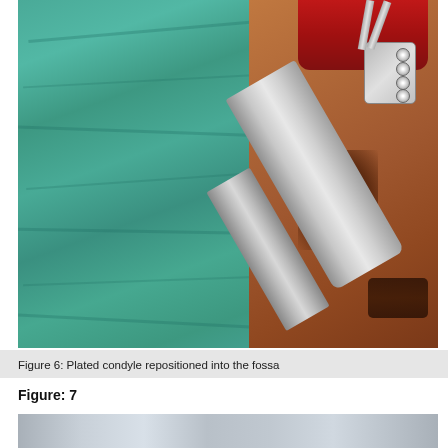[Figure (photo): Surgical photograph showing a plated condyle being repositioned into the fossa. The image shows surgical drapes in teal/green, patient skin and tissue, a metal retractor holding tissue, and a metal plate with screws visible in the surgical wound at the top right.]
Figure 6: Plated condyle repositioned into the fossa
Figure: 7
[Figure (photo): Partial view of an X-ray image (radiograph), appearing at the bottom of the page, showing grayscale radiographic content.]